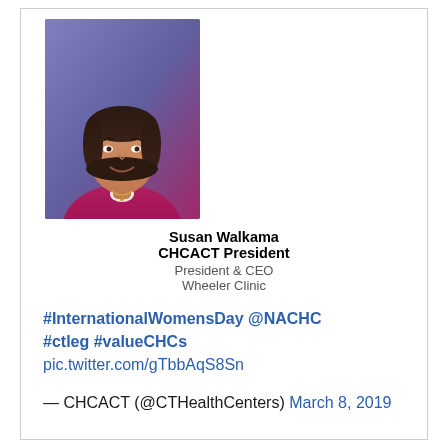[Figure (photo): Professional headshot of a woman with dark hair, wearing a magenta/pink blazer, smiling, against a blue/purple background]
Susan Walkama
CHCACT President
President & CEO
Wheeler Clinic
#InternationalWomensDay @NACHC #ctleg #valueCHCs pic.twitter.com/gTbbAqS8Sn
— CHCACT (@CTHealthCenters) March 8, 2019